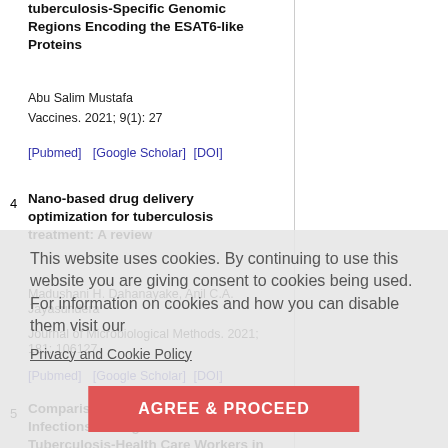tuberculosis-Specific Genomic Regions Encoding the ESAT6-like Proteins
Abu Salim Mustafa
Vaccines. 2021; 9(1): 27
[Pubmed]  [Google Scholar] [DOI]
4  Nano-based drug delivery optimization for tuberculosis treatment: A review
Madushani H. Dahanayake, Anil C.A. Jayasundera
Journal of Microbiological Methods. 2021; 181: 106127
[Pubmed]  [Google Scholar] [DOI]
5  Comparison of Latent Tuberculosis Infections among General versus Tuberculosis-Health Care Workers in Myanmar
Moe Hnin Phyu, Hutcha Sriplung, Myo Su Kyi, Cho Cho San, Virasakdi Chongsuvivatwong
Tropical Medicine and Infectious Disease. 2020; 5(3): 116
[Pubmed]  [Google Scholar] [DOI]
This website uses cookies. By continuing to use this website you are giving consent to cookies being used. For information on cookies and how you can disable them visit our Privacy and Cookie Policy
AGREE & PROCEED